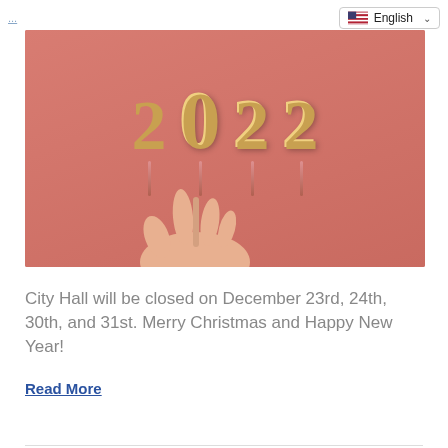English
[Figure (photo): Photo of a hand placing a golden '2022' candle digits against a coral/salmon pink background. Four gold metallic number candles spell out 2022, with a hand adjusting the first '2'.]
City Hall will be closed on December 23rd, 24th, 30th, and 31st. Merry Christmas and Happy New Year!
Read More